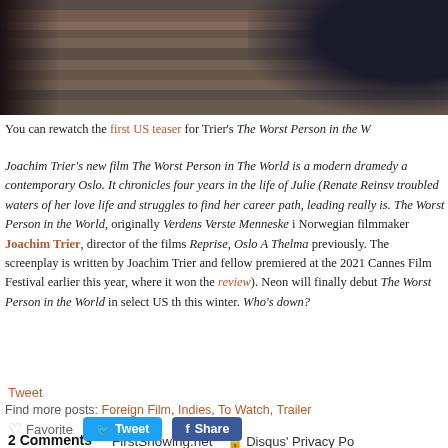[Figure (photo): Partial photo strip showing a person seated against a wooden background, dark silhouette on right]
You can rewatch the first US teaser for Trier's The Worst Person in the W
Joachim Trier's new film The Worst Person in The World is a modern dramedy a contemporary Oslo. It chronicles four years in the life of Julie (Renate Reinsv troubled waters of her love life and struggles to find her career path, leading really is. The Worst Person in the World, originally Verdens Verste Menneske i Norwegian filmmaker Joachim Trier, director of the films Reprise, Oslo A Thelma previously. The screenplay is written by Joachim Trier and fellow premiered at the 2021 Cannes Film Festival earlier this year, where it won the review). Neon will finally debut The Worst Person in the World in select US th this winter. Who's down?
Tweet
Find more posts: Foreign Film, Indies, To Watch, Trailer
2 Comments   FirstShowing.net   Disqus' Privacy Po
Favorite   Tweet   Share